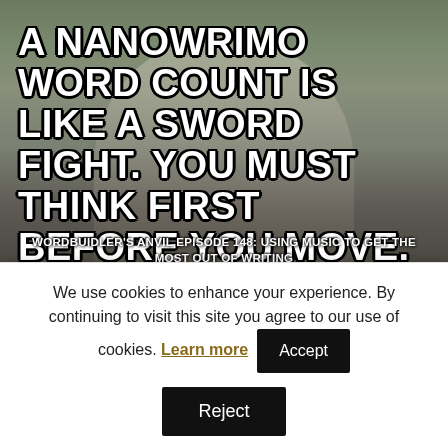[Figure (infographic): Meme-style image of an elderly bearded man with white beard pointing finger, overlaid with bold white text quote about NaNoWriMo word count, and subtitle text about podcast episode 148 on using music for writing.]
Please take a moment and comment below on this episode. I look forward to hearing from you about your Fantasy
We use cookies to enhance your experience. By continuing to visit this site you agree to our use of cookies. Learn more | Accept | Reject